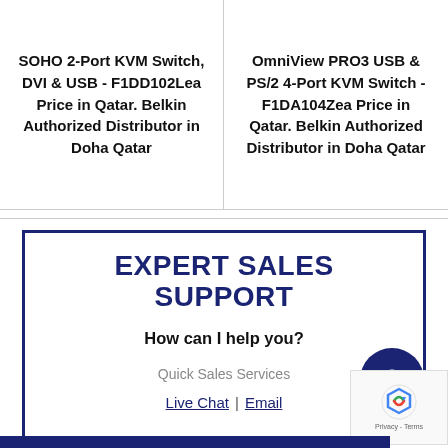SOHO 2-Port KVM Switch, DVI & USB - F1DD102Lea Price in Qatar. Belkin Authorized Distributor in Doha Qatar
OmniView PRO3 USB & PS/2 4-Port KVM Switch -F1DA104Zea Price in Qatar. Belkin Authorized Distributor in Doha Qatar
EXPERT SALES SUPPORT
How can I help you?
Quick Sales Services
Live Chat | Email
[Figure (logo): WhatsApp contact button circle dark navy blue]
[Figure (other): Google reCAPTCHA widget with privacy and terms text]